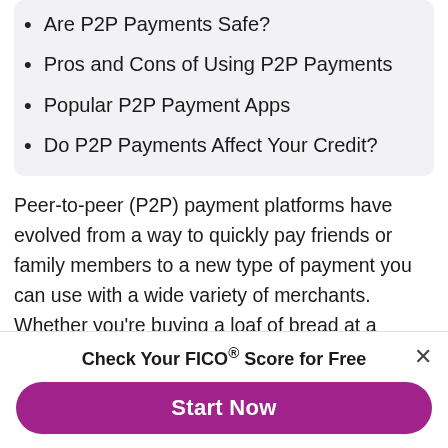Are P2P Payments Safe?
Pros and Cons of Using P2P Payments
Popular P2P Payment Apps
Do P2P Payments Affect Your Credit?
Peer-to-peer (P2P) payment platforms have evolved from a way to quickly pay friends or family members to a new type of payment you can use with a wide variety of merchants. Whether you're buying a loaf of bread at a farmer's market or making an online purchase, your P2P account could replace your cash and cards.
Check Your FICO® Score for Free
Start Now